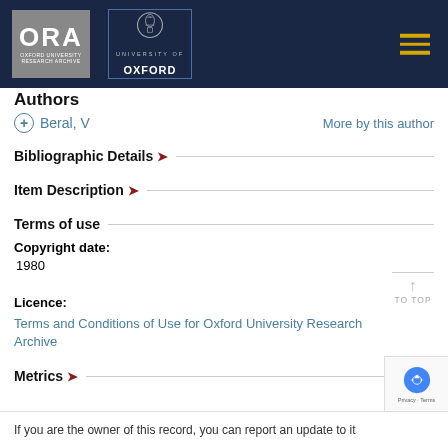[Figure (logo): ORA Oxford University Research Archive logo and University of Oxford crest logo on dark navy header with hamburger menu icon]
Authors
+ Beral, V   More by this author
Bibliographic Details
Item Description
Terms of use
Copyright date:
1980
Licence:
Terms and Conditions of Use for Oxford University Research Archive
Metrics
If you are the owner of this record, you can report an update to it